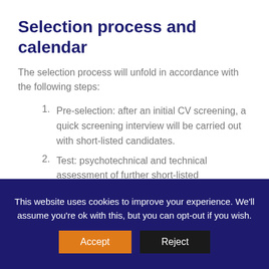Selection process and calendar
The selection process will unfold in accordance with the following steps:
Pre-selection: after an initial CV screening, a quick screening interview will be carried out with short-listed candidates.
Test: psychotechnical and technical assessment of further short-listed
This website uses cookies to improve your experience. We'll assume you're ok with this, but you can opt-out if you wish.